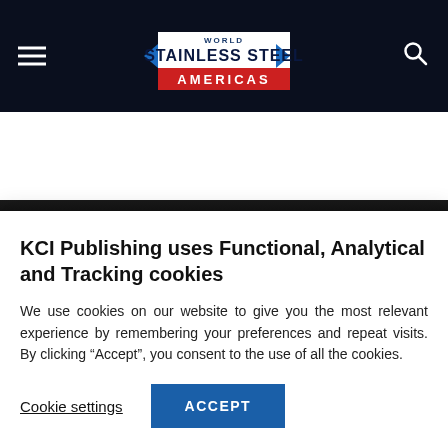World Stainless Steel Americas
ADVANCED SEARCH
KCI Publishing uses Functional, Analytical and Tracking cookies
We use cookies on our website to give you the most relevant experience by remembering your preferences and repeat visits. By clicking “Accept”, you consent to the use of all the cookies.
Cookie settings   ACCEPT